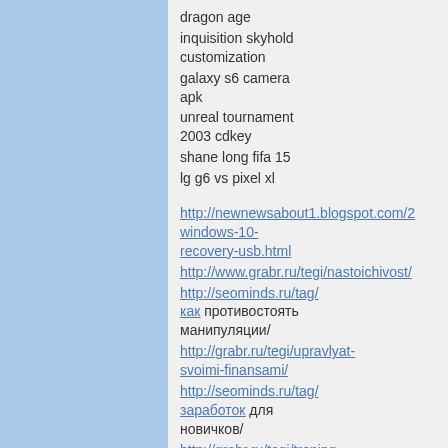dragon age
inquisition skyhold customization
galaxy s6 camera apk
unreal tournament 2003 cdkey
shane long fifa 15
lg g6 vs pixel xl
http://newnewsabout1.blogspot.com/2... windows-10-recovery-usb.html
http://www.grabr.ru/tegi/nastoichivost/
http://seominds.ru/tag/ как противостоять манипуляции/
http://grabr.ru/tegi/upravlyat-svoimi-finansami/
http://seominds.ru/tag/ заработок для новичков/
http://grabr.ru/tegi/trening-